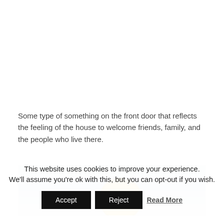Some type of something on the front door that reflects the feeling of the house to welcome friends, family, and the people who live there.
[Figure (photo): Photo showing top portion of a front door area with a yellow circular decorative item visible against a light blue/white door panel background.]
This website uses cookies to improve your experience. We'll assume you're ok with this, but you can opt-out if you wish. Accept Reject Read More